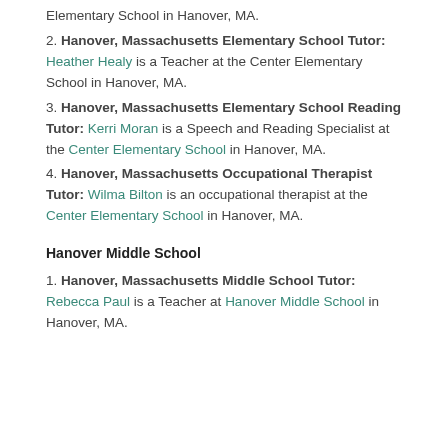Elementary School in Hanover, MA.
2. Hanover, Massachusetts Elementary School Tutor: Heather Healy is a Teacher at the Center Elementary School in Hanover, MA.
3. Hanover, Massachusetts Elementary School Reading Tutor: Kerri Moran is a Speech and Reading Specialist at the Center Elementary School in Hanover, MA.
4. Hanover, Massachusetts Occupational Therapist Tutor: Wilma Bilton is an occupational therapist at the Center Elementary School in Hanover, MA.
Hanover Middle School
1. Hanover, Massachusetts Middle School Tutor: Rebecca Paul is a Teacher at Hanover Middle School in Hanover, MA.